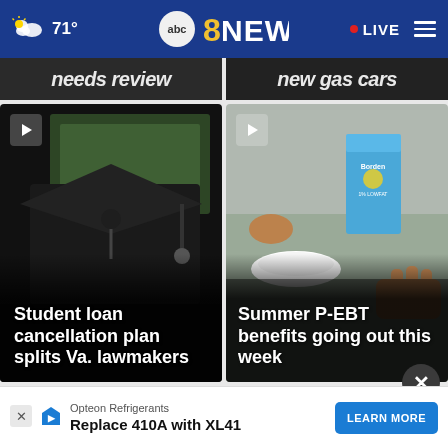71° | ABC 8 NEWS | LIVE
[Figure (screenshot): Partially visible top news cards with text 'needs review' and 'new gas cars']
[Figure (photo): Graduation cap over money, news video thumbnail]
Student loan cancellation plan splits Va. lawmakers
[Figure (photo): School lunch with Borden milk carton, news video thumbnail]
Summer P-EBT benefits going out this week
To
Opteon Refrigerants
Replace 410A with XL41
LEARN MORE